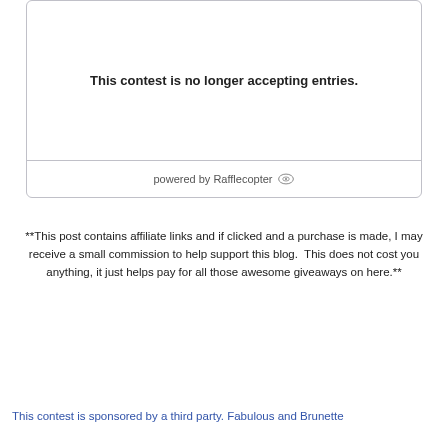[Figure (screenshot): Rafflecopter widget box showing 'This contest is no longer accepting entries.' message with 'powered by Rafflecopter' footer]
**This post contains affiliate links and if clicked and a purchase is made, I may receive a small commission to help support this blog.  This does not cost you anything, it just helps pay for all those awesome giveaways on here.**
This contest is sponsored by a third party. Fabulous and Brunette